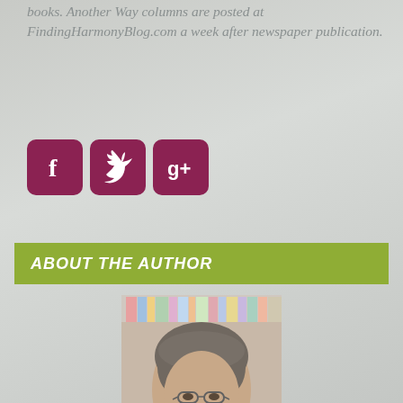books. Another Way columns are posted at FindingHarmonyBlog.com a week after newspaper publication.
[Figure (infographic): Three social media icons: Facebook (f), Twitter (bird), and Google+ (g+), each on a dark maroon/burgundy rounded square background.]
ABOUT THE AUTHOR
[Figure (photo): Portrait photo of a middle-aged woman with short gray-brown hair and glasses, smiling, wearing a light green sweater, with bookshelves in the background.]